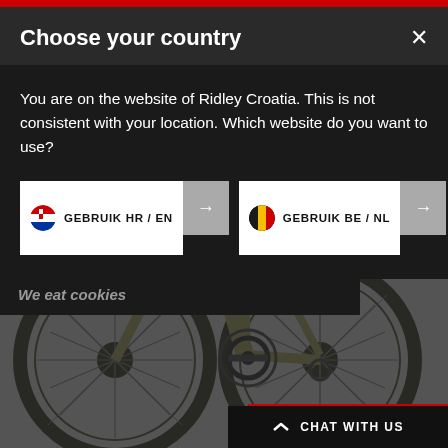[Figure (screenshot): Screenshot of Ridley Bikes website showing a country selection modal dialog over a background image of a green Ridley road bicycle on a grey background.]
Choose your country
You are on the website of Ridley Croatia. This is not consistent with your location. Which website do you want to use?
GEBRUIK HR / EN
GEBRUIK BE / NL
We eat cookies
CHAT WITH US